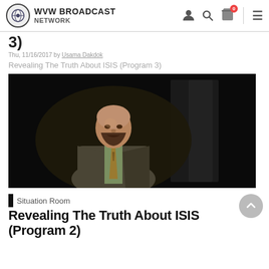WVW BROADCAST NETWORK
3)
Thu, 11/16/2017 by Usama Dakdok
Revealing The Truth About ISIS (Program 3)
[Figure (photo): A bald man with a beard wearing a grey suit, green shirt, and patterned tie, speaking in front of a dark background.]
Situation Room
Revealing The Truth About ISIS (Program 2)